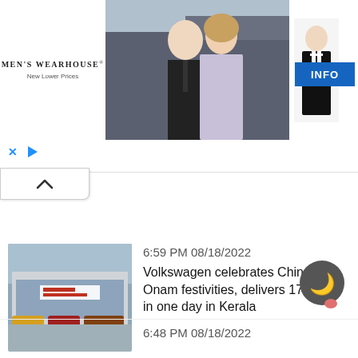[Figure (screenshot): Men's Wearhouse advertisement banner showing a couple in formal wear and a man in a tuxedo with INFO button]
[Figure (screenshot): Collapse/chevron UI button and ad control icons (X and play)]
6:59 PM 08/18/2022
Volkswagen celebrates Chingam Onam festivities, delivers 175 cars in one day in Kerala
[Figure (photo): Volkswagen dealership exterior with cars parked outside]
6:48 PM 08/18/2022